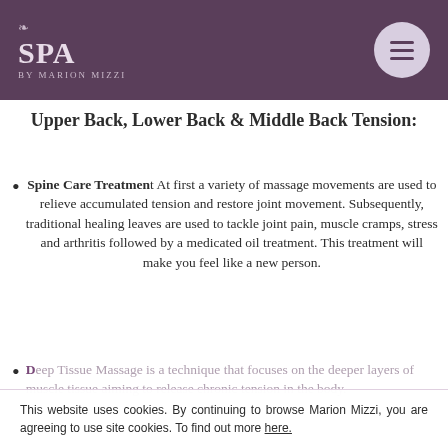SPA BY MARION MIZZI
Upper Back, Lower Back & Middle Back Tension:
Spine Care Treatment At first a variety of massage movements are used to relieve accumulated tension and restore joint movement. Subsequently, traditional healing leaves are used to tackle joint pain, muscle cramps, stress and arthritis followed by a medicated oil treatment. This treatment will make you feel like a new person.
Deep Tissue Massage is a technique that focuses on the deeper layers of muscle tissue aiming to release chronic tension in the body.
This website uses cookies. By continuing to browse Marion Mizzi, you are agreeing to use site cookies. To find out more here.